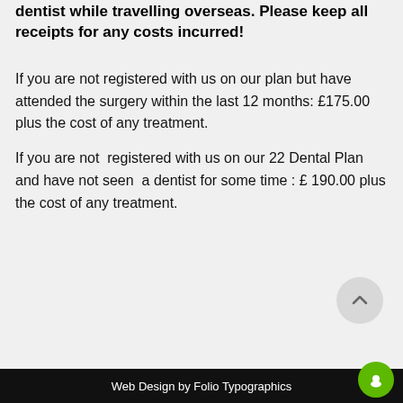dentist while travelling overseas. Please keep all receipts for any costs incurred!
If you are not registered with us on our plan but have attended the surgery within the last 12 months: £175.00 plus the cost of any treatment.
If you are not  registered with us on our 22 Dental Plan and have not seen  a dentist for some time : £ 190.00 plus the cost of any treatment.
Web Design by Folio Typographics